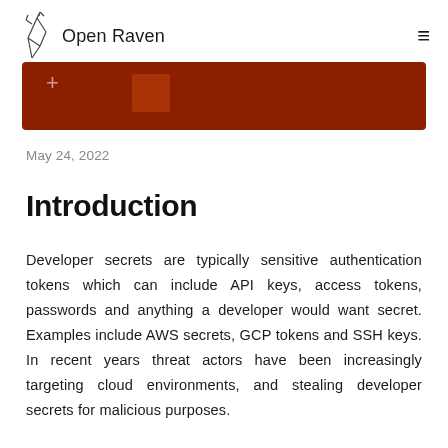Open Raven
[Figure (photo): Dark reddish-brown banner image with a plus sign and a rectangular shape overlaid]
May 24, 2022
Introduction
Developer secrets are typically sensitive authentication tokens which can include API keys, access tokens, passwords and anything a developer would want secret. Examples include AWS secrets, GCP tokens and SSH keys. In recent years threat actors have been increasingly targeting cloud environments, and stealing developer secrets for malicious purposes.